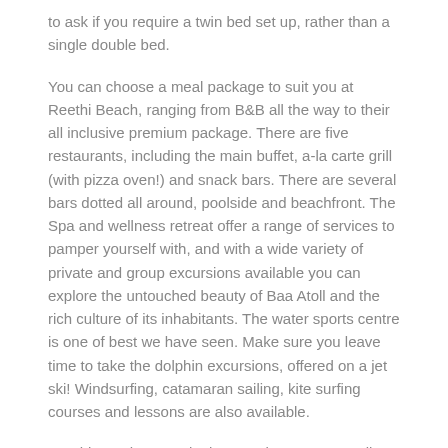to ask if you require a twin bed set up, rather than a single double bed.
You can choose a meal package to suit you at Reethi Beach, ranging from B&B all the way to their all inclusive premium package. There are five restaurants, including the main buffet, a-la carte grill (with pizza oven!) and snack bars. There are several bars dotted all around, poolside and beachfront. The Spa and wellness retreat offer a range of services to pamper yourself with, and with a wide variety of private and group excursions available you can explore the untouched beauty of Baa Atoll and the rich culture of its inhabitants. The water sports centre is one of best we have seen. Make sure you leave time to take the dolphin excursions, offered on a jet ski! Windsurfing, catamaran sailing, kite surfing courses and lessons are also available.
Reethi Beach currently does not have an open dive centre or dive services available in resort.